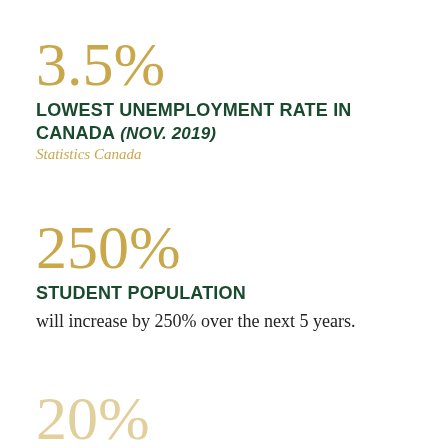3.5%
LOWEST UNEMPLOYMENT RATE IN CANADA (Nov. 2019)
Statistics Canada
250%
STUDENT POPULATION will increase by 250% over the next 5 years.
20%